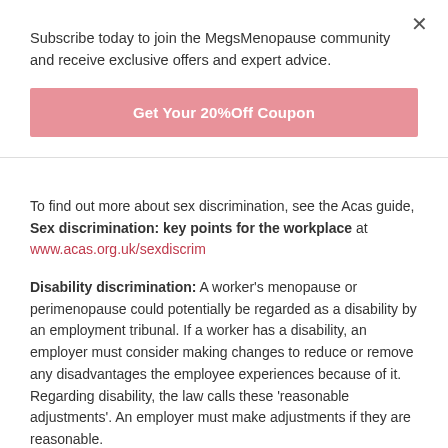Subscribe today to join the MegsMenopause community and receive exclusive offers and expert advice.
Get Your 20%Off Coupon
To find out more about sex discrimination, see the Acas guide, Sex discrimination: key points for the workplace at www.acas.org.uk/sexdiscrim
Disability discrimination: A worker's menopause or perimenopause could potentially be regarded as a disability by an employment tribunal. If a worker has a disability, an employer must consider making changes to reduce or remove any disadvantages the employee experiences because of it. Regarding disability, the law calls these 'reasonable adjustments'. An employer must make adjustments if they are reasonable.